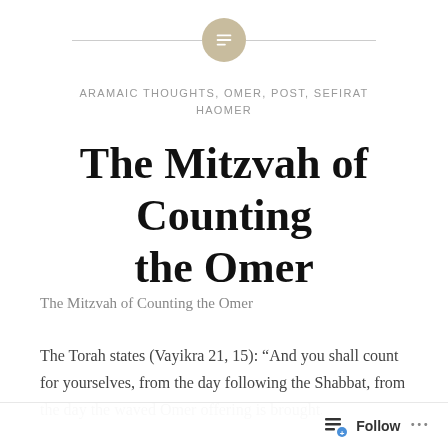[Figure (logo): Decorative header icon: a beige/tan circle with a white lines/document icon centered on it, flanked by thin gray horizontal lines on each side]
ARAMAIC THOUGHTS, OMER, POST, SEFIRAT HAOMER
The Mitzvah of Counting the Omer
The Mitzvah of Counting the Omer
The Torah states (Vayikra 21, 15): “And you shall count for yourselves, from the day following the Shabbat, from the day the waved Omer offering is brought,